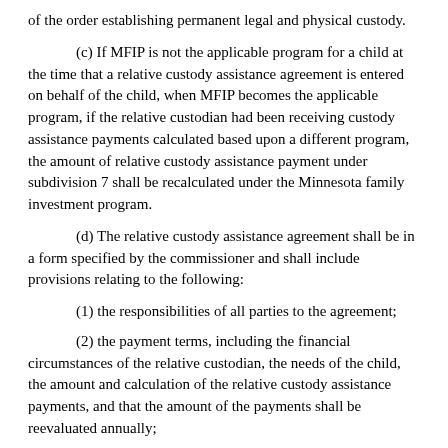of the order establishing permanent legal and physical custody.
(c) If MFIP is not the applicable program for a child at the time that a relative custody assistance agreement is entered on behalf of the child, when MFIP becomes the applicable program, if the relative custodian had been receiving custody assistance payments calculated based upon a different program, the amount of relative custody assistance payment under subdivision 7 shall be recalculated under the Minnesota family investment program.
(d) The relative custody assistance agreement shall be in a form specified by the commissioner and shall include provisions relating to the following:
(1) the responsibilities of all parties to the agreement;
(2) the payment terms, including the financial circumstances of the relative custodian, the needs of the child, the amount and calculation of the relative custody assistance payments, and that the amount of the payments shall be reevaluated annually;
(3) the effective date of the agreement, which shall also be the same as or later for the purposes of submitting the